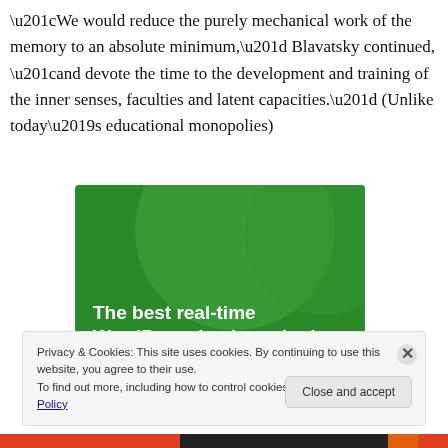“We would reduce the purely mechanical work of the memory to an absolute minimum,” Blavatsky continued, “and devote the time to the development and training of the inner senses, faculties and latent capacities.” (Unlike today’s educational monopolies)
[Figure (illustration): Green advertisement banner for 'The best real-time WordPress backup plugin']
Privacy & Cookies: This site uses cookies. By continuing to use this website, you agree to their use.
To find out more, including how to control cookies, see here: Cookie Policy
Close and accept